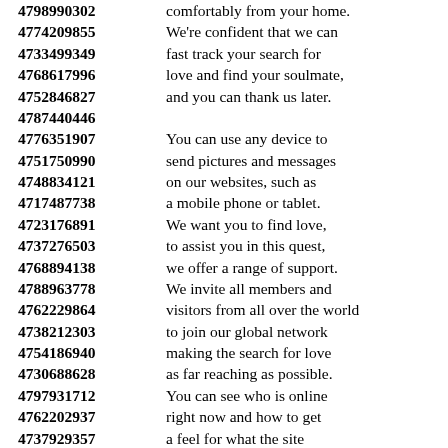4798990302 comfortably from your home. 4774209855 We're confident that we can 4733499349 fast track your search for 4768617996 love and find your soulmate, 4752846827 and you can thank us later. 4787440446 4776351907 You can use any device to 4751750990 send pictures and messages 4748834121 on our websites, such as 4717487738 a mobile phone or tablet. 4723176891 We want you to find love, 4737276503 to assist you in this quest, 4768894138 we offer a range of support. 4788963778 We invite all members and 4762229864 visitors from all over the world 4738212303 to join our global network 4754186940 making the search for love 4730688628 as far reaching as possible. 4797931712 You can see who is online 4762202937 right now and how to get 4737929357 a feel for what the site 4789400961 is really like at one of 4798465393 the best online dating services. 4796125126 4760648422 It's quick and easy to join 4742584470 which means you could be